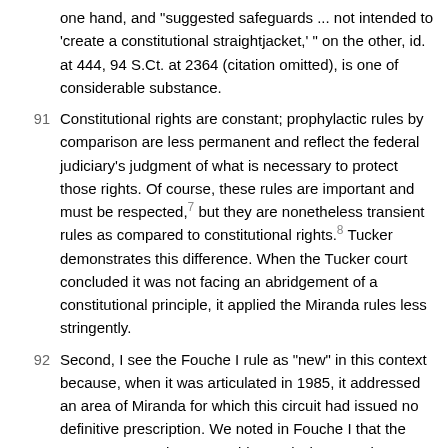one hand, and "suggested safeguards ... not intended to 'create a constitutional straightjacket,' " on the other, id. at 444, 94 S.Ct. at 2364 (citation omitted), is one of considerable substance.
91 Constitutional rights are constant; prophylactic rules by comparison are less permanent and reflect the federal judiciary's judgment of what is necessary to protect those rights. Of course, these rules are important and must be respected,7 but they are nonetheless transient rules as compared to constitutional rights.8 Tucker demonstrates this difference. When the Tucker court concluded it was not facing an abridgement of a constitutional principle, it applied the Miranda rules less stringently.
92 Second, I see the Fouche I rule as "new" in this context because, when it was articulated in 1985, it addressed an area of Miranda for which this circuit had issued no definitive prescription. We noted in Fouche I that the Supreme Court has "not addressed what constitutes a valid assertion of the right to counsel," 776 F.2d at 1404, commenting that Edwards addresses only "a right to counsel that has been 'specifically invoked.' " Id. Judge Tang also stated in Fouche I: "No Ninth Circuit cases provide guidance." Id. Indeed, in 1984 the Supreme Court explicitly declined to articulate a standard